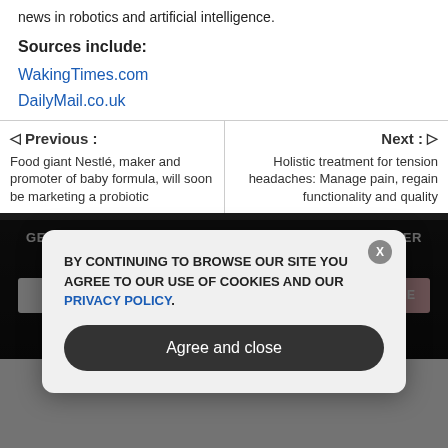news in robotics and artificial intelligence.
Sources include:
WakingTimes.com
DailyMail.co.uk
Previous : Food giant Nestlé, maker and promoter of baby formula, will soon be marketing a probiotic
Next : Holistic treatment for tension headaches: Manage pain, regain functionality and quality
GET THE WORLD'S BEST NATURAL HEALTH NEWSLETTER DELIVERED STRAIGHT TO YOUR INBOX
Enter Your Email Address
SUBSCRIBE
BY CONTINUING TO BROWSE OUR SITE YOU AGREE TO OUR USE OF COOKIES AND OUR PRIVACY POLICY.
Agree and close